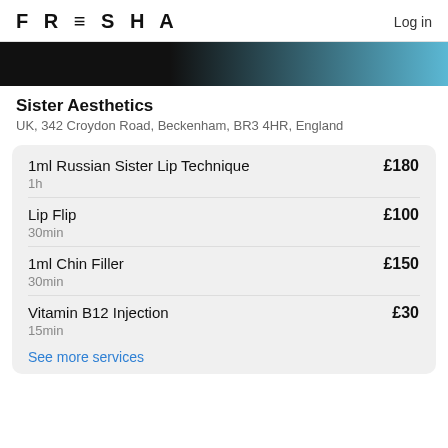FRESHA  Log in
[Figure (photo): Partial photo of a person in blue, cropped at top]
Sister Aesthetics
UK, 342 Croydon Road, Beckenham, BR3 4HR, England
| Service | Price |
| --- | --- |
| 1ml Russian Sister Lip Technique
1h | £180 |
| Lip Flip
30min | £100 |
| 1ml Chin Filler
30min | £150 |
| Vitamin B12 Injection
15min | £30 |
See more services